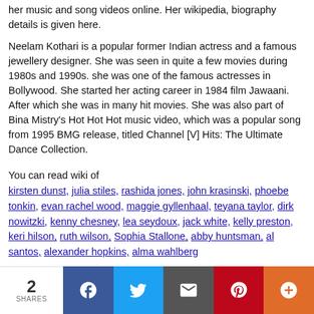her music and song videos online. Her wikipedia, biography details is given here.
Neelam Kothari is a popular former Indian actress and a famous jewellery designer. She was seen in quite a few movies during 1980s and 1990s. she was one of the famous actresses in Bollywood. She started her acting career in 1984 film Jawaani. After which she was in many hit movies. She was also part of Bina Mistry's Hot Hot Hot music video, which was a popular song from 1995 BMG release, titled Channel [V] Hits: The Ultimate Dance Collection.
You can read wiki of
kirsten dunst, julia stiles, rashida jones, john krasinski, phoebe tonkin, evan rachel wood, maggie gyllenhaal, teyana taylor, dirk nowitzki, kenny chesney, lea seydoux, jack white, kelly preston, keri hilson, ruth wilson, Sophia Stallone, abby huntsman, al santos, alexander hopkins, alma wahlberg
2 SHARES | Facebook | Twitter | Email | Pinterest | More